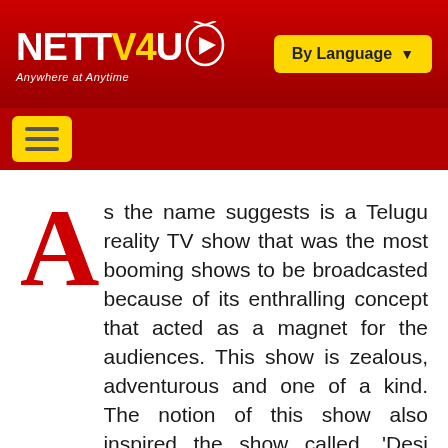NETTV4U — Anywhere at Anytime | By Language
As the name suggests is a Telugu reality TV show that was the most booming shows to be broadcasted because of its enthralling concept that acted as a magnet for the audiences. This show is zealous, adventurous and one of a kind. The notion of this show also inspired the show called, 'Desi Girlz'. Both of these shows had a similar concept although Telugu Ammayi telecasted before the latter one. Mainly homemakers were the target audiences of this show along with a few interested young girls but so